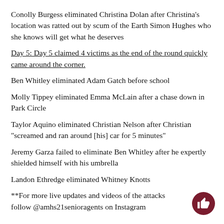Conolly Burgess eliminated Christina Dolan after Christina's location was ratted out by scum of the Earth Simon Hughes who she knows will get what he deserves
Day 5: Day 5 claimed 4 victims as the end of the round quickly came around the corner.
Ben Whitley eliminated Adam Gatch before school
Molly Tippey eliminated Emma McLain after a chase down in Park Circle
Taylor Aquino eliminated Christian Nelson after Christian "screamed and ran around [his] car for 5 minutes"
Jeremy Garza failed to eliminate Ben Whitley after he expertly shielded himself with his umbrella
Landon Ethredge eliminated Whitney Knotts
**For more live updates and videos of the attacks follow @amhs21senioragents on Instagram